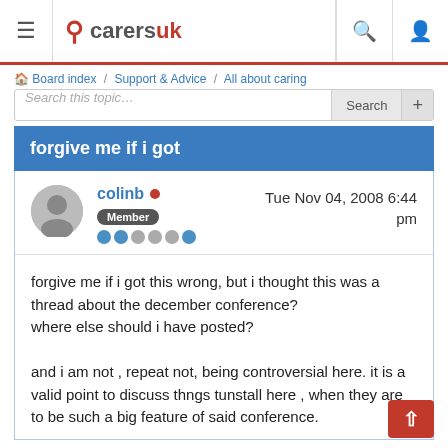carersuk
Board index / Support & Advice / All about caring
Search this topic… Search +
forgive me if i got
colinb ● Tue Nov 04, 2008 6:44 pm
Member
forgive me if i got this wrong, but i thought this was a thread about the december conference?
where else should i have posted?

and i am not , repeat not, being controversial here. it is a valid point to discuss thngs tunstall here , when they are to be such a big feature of said conference.